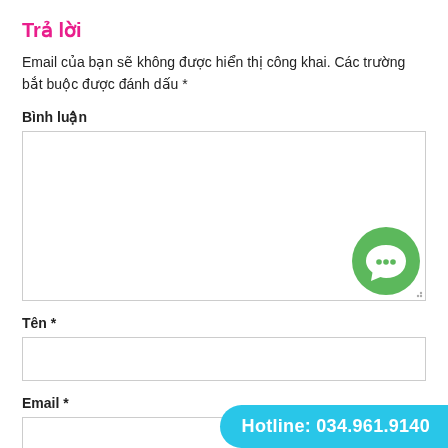Trả lời
Email của bạn sẽ không được hiển thị công khai. Các trường bắt buộc được đánh dấu *
Bình luận
[Figure (screenshot): Large text area input box for comment, with a green chat bubble icon in the bottom right corner]
Tên *
[Figure (screenshot): Single-line text input box for name]
Email *
[Figure (screenshot): Single-line text input box for email with cyan hotline badge overlay reading Hotline: 034.961.9140]